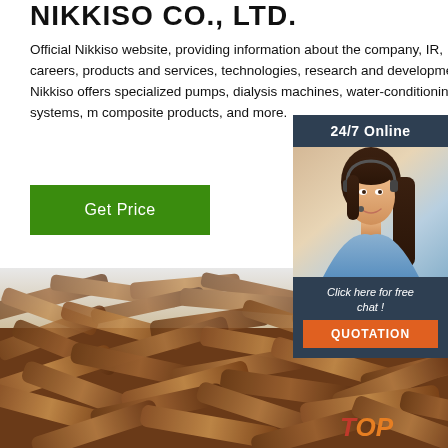NIKKISO CO., LTD.
Official Nikkiso website, providing information about the company, IR, careers, products and services, technologies, research and development. Nikkiso offers specialized pumps, dialysis machines, water-conditioning systems, m composite products, and more.
[Figure (other): Green 'Get Price' button]
[Figure (photo): Advertisement overlay showing a customer service representative with headset, '24/7 Online' banner, 'Click here for free chat!' text, and an orange 'QUOTATION' button on a dark blue background]
[Figure (photo): Close-up photograph of dried herbal roots/bark pieces piled together, brown in color. A 'TOP' watermark in orange/red is visible in the lower right corner.]